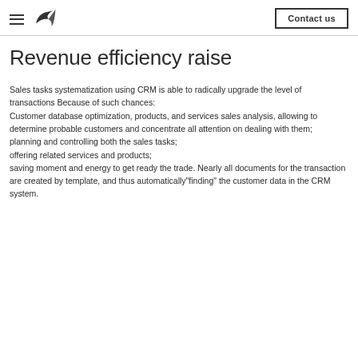Contact us
Revenue efficiency raise
Sales tasks systematization using CRM is able to radically upgrade the level of transactions Because of such chances:
Customer database optimization, products, and services sales analysis, allowing to determine probable customers and concentrate all attention on dealing with them;
planning and controlling both the sales tasks;
offering related services and products;
saving moment and energy to get ready the trade. Nearly all documents for the transaction are created by template, and thus automatically"finding" the customer data in the CRM system.